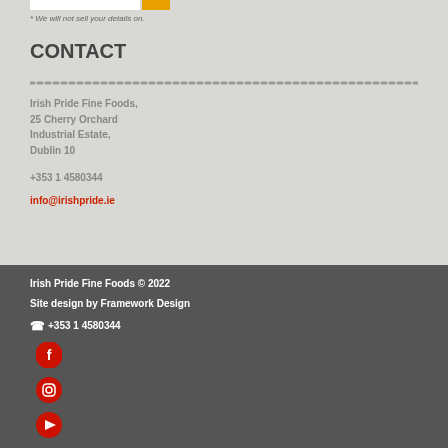* We will not sell your details on.
CONTACT
Irish Pride Fine Foods,
25 Cherry Orchard
Industrial Estate,
Dublin 10
+353 1 4580344
info@irishpride.ie
Irish Pride Fine Foods © 2022
Site design by Framework Design
☎ +353 1 4580344